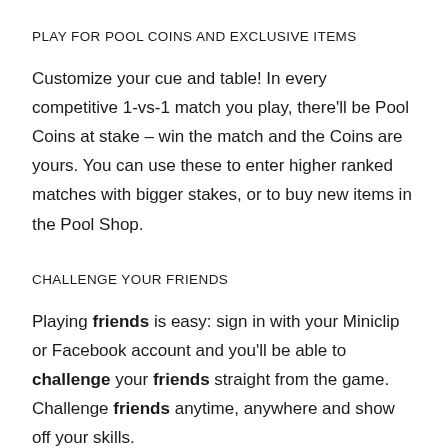PLAY FOR POOL COINS AND EXCLUSIVE ITEMS
Customize your cue and table! In every competitive 1-vs-1 match you play, there'll be Pool Coins at stake – win the match and the Coins are yours. You can use these to enter higher ranked matches with bigger stakes, or to buy new items in the Pool Shop.
CHALLENGE YOUR FRIENDS
Playing friends is easy: sign in with your Miniclip or Facebook account and you'll be able to challenge your friends straight from the game. Challenge friends anytime, anywhere and show off your skills.
LEVEL UP